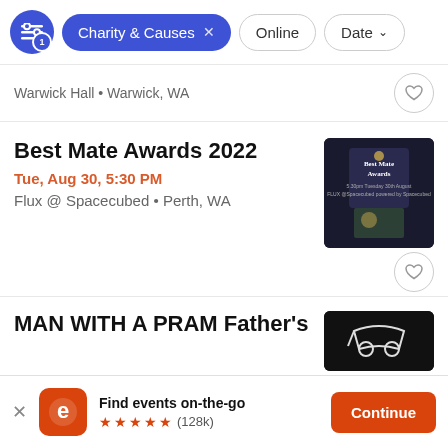Charity & Causes × | Online | Date
Warwick Hall • Warwick, WA
Best Mate Awards 2022
Tue, Aug 30, 5:30 PM
Flux @ Spacecubed • Perth, WA
[Figure (photo): Best Mate Awards event promotional image with dark background and event details text]
MAN WITH A PRAM Father's
[Figure (photo): Dark background event image for MAN WITH A PRAM Father's event]
Find events on-the-go ★★★★★ (128k)
Continue